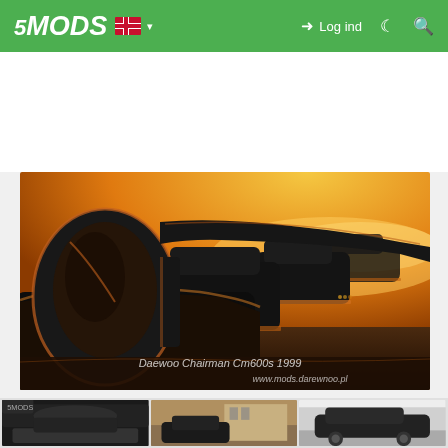5MODS — Log ind
[Figure (photo): Close-up photo of Daewoo Chairman Cm600s 1999 cars lined up at sunset with orange/golden lighting highlighting the side mirrors and body curves. Watermark text: 'Daewoo Chairman Cm600s 1999' and 'www.mods.darewnoo.pl']
[Figure (screenshot): Three small thumbnail screenshots of the car mod from different angles]
Daewoo Chairman Cm600s 1999 — www.mods.darewnoo.pl